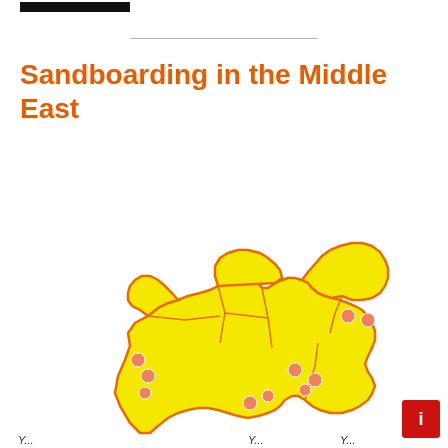Sandboarding in the Middle East
[Figure (map): Map of the Middle East region shown in yellow with orange borders, with salmon/orange dots marking sandboarding locations across the Arabian Peninsula, Levant, and surrounding countries. The map is cropped showing the lower portion of the region.]